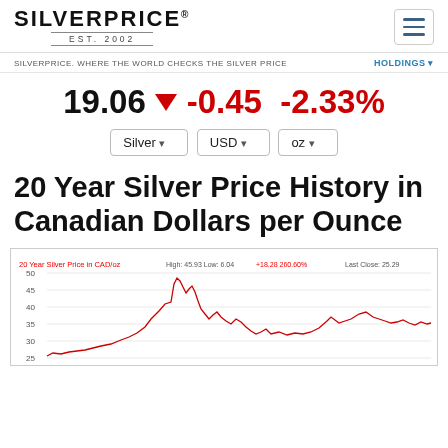SILVERPRICE EST. 2002
SILVERPRICE. WHERE THE WORLD CHECKS THE SILVER PRICE    HOLDINGS
19.06 ▼ -0.45 -2.33%
Silver | USD | oz
20 Year Silver Price History in Canadian Dollars per Ounce
[Figure (continuous-plot): 20-year line chart of silver price in CAD per ounce. Red line chart showing price from ~6 CAD to a peak near 45.93 CAD, then declining. High: 45.93, Low: 6.04, +18.28, 260.60%. Last Close: 25.29. Y-axis from 25 to 50 visible.]